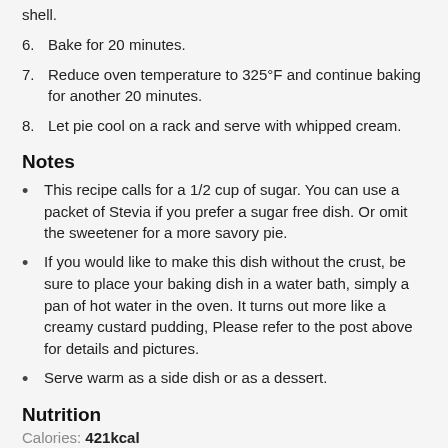shell.
6. Bake for 20 minutes.
7. Reduce oven temperature to 325°F and continue baking for another 20 minutes.
8. Let pie cool on a rack and serve with whipped cream.
Notes
This recipe calls for a 1/2 cup of sugar. You can use a packet of Stevia if you prefer a sugar free dish. Or omit the sweetener for a more savory pie.
If you would like to make this dish without the crust, be sure to place your baking dish in a water bath, simply a pan of hot water in the oven. It turns out more like a creamy custard pudding, Please refer to the post above for details and pictures.
Serve warm as a side dish or as a dessert.
Nutrition
Calories: 421kcal